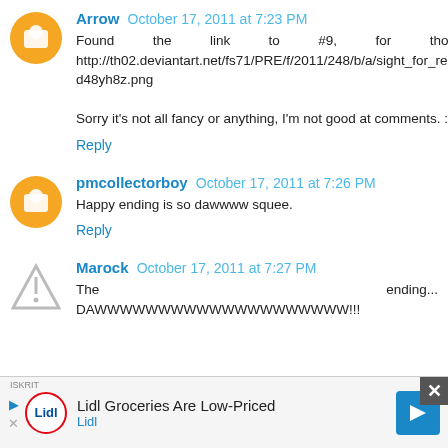Comment by Arrow, October 17, 2011 at 7:23 PM. Found the link to #9, for those who want it: http://th02.deviantart.net/fs71/PRE/f/2011/248/b/a/sight_for_really_sore_eyes_9_by_speccysy-d48yh8z.png
Sorry it's not all fancy or anything, I'm not good at comments. :(
Reply
Comment by pmcollectorboy, October 17, 2011 at 7:26 PM. Happy ending is so dawwww squee.
Reply
Comment by Marock, October 17, 2011 at 7:27 PM. The ending... DAWWWWWWWWWWWWWWWWWWWW!!!
[Figure (infographic): Advertisement banner for Lidl Groceries with Lidl logo, text 'Lidl Groceries Are Low-Priced', navigation arrow, and close button.]